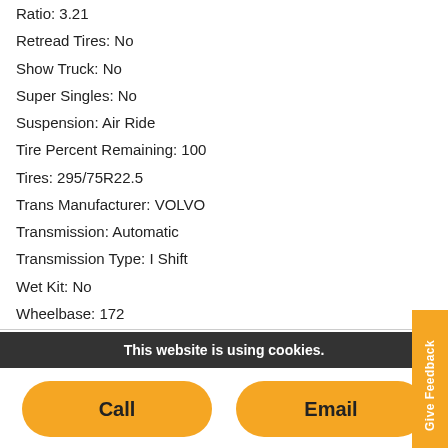Ratio: 3.21
Retread Tires: No
Show Truck: No
Super Singles: No
Suspension: Air Ride
Tire Percent Remaining: 100
Tires: 295/75R22.5
Trans Manufacturer: VOLVO
Transmission: Automatic
Transmission Type: I Shift
Wet Kit: No
Wheelbase: 172
Wheels: Aluminum
This website is using cookies.
Call
Email